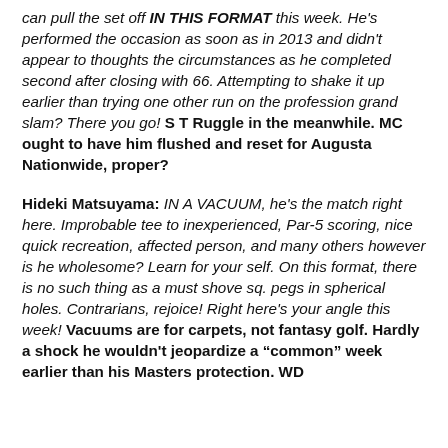can pull the set off IN THIS FORMAT this week. He's performed the occasion as soon as in 2013 and didn't appear to thoughts the circumstances as he completed second after closing with 66. Attempting to shake it up earlier than trying one other run on the profession grand slam? There you go! S T Ruggle in the meanwhile. MC ought to have him flushed and reset for Augusta Nationwide, proper?
Hideki Matsuyama: IN A VACUUM, he's the match right here. Improbable tee to inexperienced, Par-5 scoring, nice quick recreation, affected person, and many others however is he wholesome? Learn for your self. On this format, there is no such thing as a must shove sq. pegs in spherical holes. Contrarians, rejoice! Right here's your angle this week! Vacuums are for carpets, not fantasy golf. Hardly a shock he wouldn't jeopardize a "common" week earlier than his Masters protection. WD